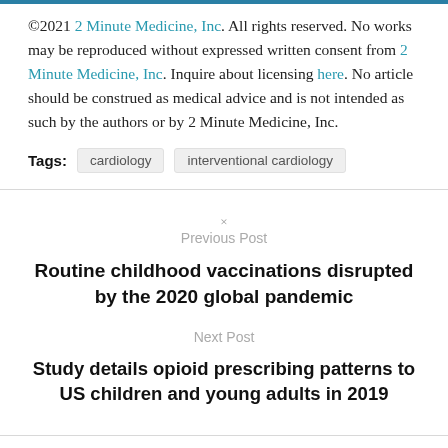©2021 2 Minute Medicine, Inc. All rights reserved. No works may be reproduced without expressed written consent from 2 Minute Medicine, Inc. Inquire about licensing here. No article should be construed as medical advice and is not intended as such by the authors or by 2 Minute Medicine, Inc.
Tags: cardiology  interventional cardiology
× Previous Post
Routine childhood vaccinations disrupted by the 2020 global pandemic
Next Post
Study details opioid prescribing patterns to US children and young adults in 2019